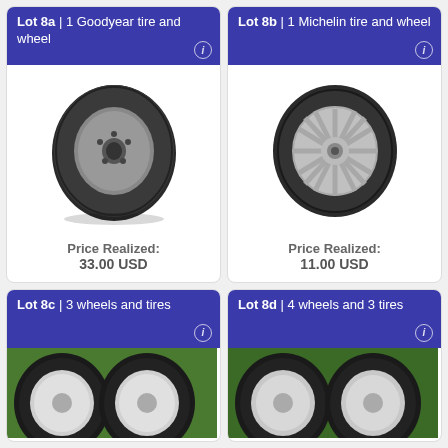Lot 8a | 1 Goodyear tire and wheel
[Figure (photo): Photo of a Goodyear tire and steel wheel lying on wooden slats outdoors]
Price Realized: 33.00 USD
Lot 8b | 1 Michelin tire and wheel
[Figure (photo): Photo of a Michelin tire with silver alloy wheel, outdoors on grass]
Price Realized: 11.00 USD
Lot 8c | 3 wheels and tires
[Figure (photo): Partial photo of chrome/alloy wheels and tires on grass]
Lot 8d | 4 wheels and 3 tires
[Figure (photo): Partial photo of alloy wheels and tires]